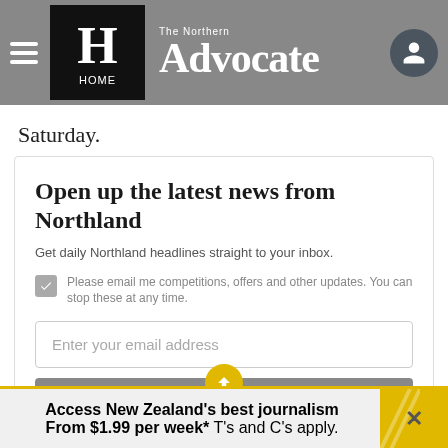The Northern Advocate – HOME
Saturday.
Open up the latest news from Northland
Get daily Northland headlines straight to your inbox.
Please email me competitions, offers and other updates. You can stop these at any time.
Enter your email address
Access New Zealand's best journalism From $1.99 per week* T's and C's apply.